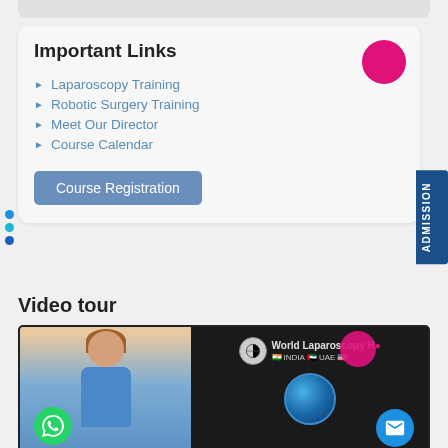Important Links
Laparoscopy Training
Robotic Surgery Training
Meet Our Director
Course Calendar
Course Registration
Video tour
[Figure (screenshot): Video thumbnail showing World Laparoscopy Hospital with a woman presenter, WhatsApp icon, globe, and World Laparoscopy Hospital logo with India and UAE flags]